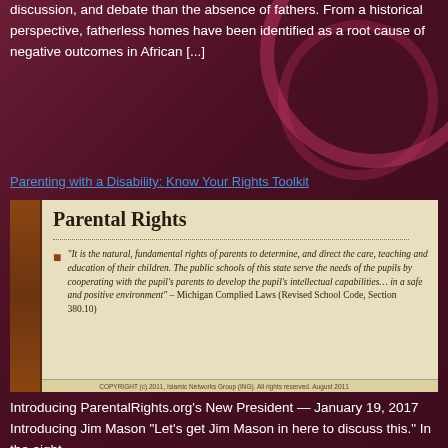discussion, and debate than the absence of fathers. From a historical perspective, fatherless homes have been identified as a root cause of negative outcomes in African [...]
Parenting with a Disability: Know Your Rights Toolkit
[Figure (screenshot): Screenshot of a 'Parental Rights' document page featuring the title 'Parental Rights', a dotted divider, a square bullet marker, an italic quote: '"It is the natural, fundamental rights of parents to determine, and direct the care, teaching and education of their children. The public schools of this state serve the needs of the pupils by cooperating with the pupil’s parents to develop the pupil’s intellectual capabilities… in a safe and positive environment" – Michigan Complied Laws (Revised School Code, Section 380.10)', and a copyright notice: 'COPYRIGHT (c) 2011, Islamic Networks Group (ING). All rights reserved. August 2011']
Introducing ParentalRights.org’s New President — January 19, 2017 Introducing Jim Mason "Let’s get Jim Mason in here to discuss this." In the eight